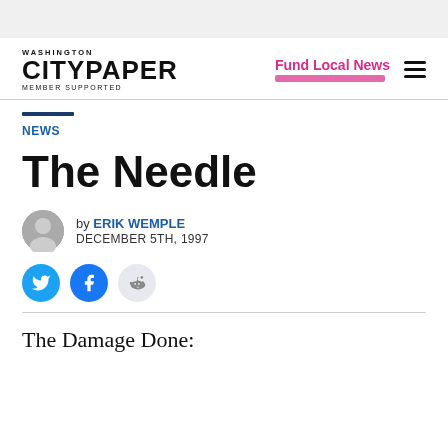Washington City Paper — Member Supported | Fund Local News
NEWS
The Needle
by ERIK WEMPLE
DECEMBER 5TH, 1997
The Damage Done: